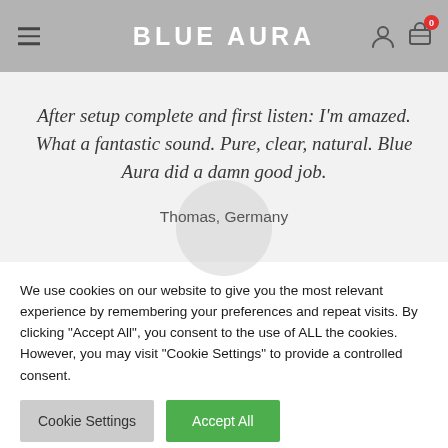Blue Aura
After setup complete and first listen: I'm amazed. What a fantastic sound. Pure, clear, natural. Blue Aura did a damn good job.
Thomas, Germany
We use cookies on our website to give you the most relevant experience by remembering your preferences and repeat visits. By clicking "Accept All", you consent to the use of ALL the cookies. However, you may visit "Cookie Settings" to provide a controlled consent.
Cookie Settings | Accept All